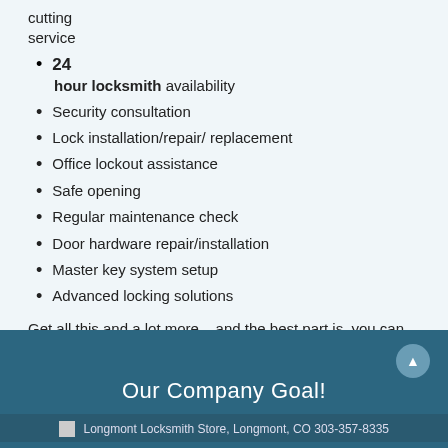cutting
service
24 hour locksmith availability
Security consultation
Lock installation/repair/ replacement
Office lockout assistance
Safe opening
Regular maintenance check
Door hardware repair/installation
Master key system setup
Advanced locking solutions
Get all this and a lot more – and the best part is, you can call us at just about any time to avail our 24 hour locksmith solutions. Dial 303-357-8335 !
Our Company Goal!
Longmont Locksmith Store, Longmont, CO 303-357-8335